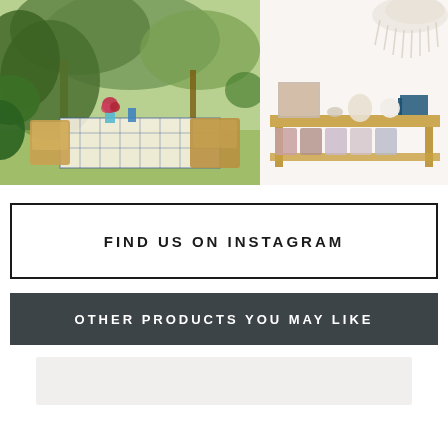[Figure (photo): Outdoor garden dining scene with wicker chairs, a table with blue/white checkered cloth, red flowers in vases, blue glassware, surrounded by olive trees and lush green garden]
[Figure (photo): Interior home decor scene showing a gold/rattan console table with rolled fabrics, books, decorative items, and a white macrame wall hanging above]
FIND US ON INSTAGRAM
OTHER PRODUCTS YOU MAY LIKE